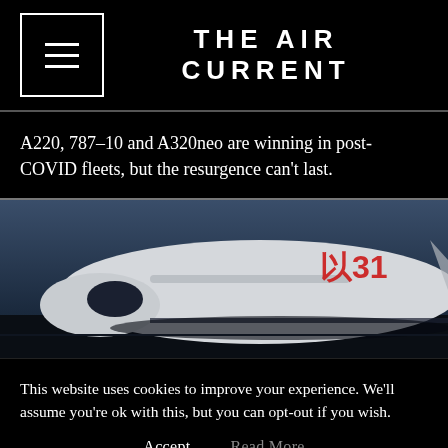THE AIR CURRENT
A220, 787-10 and A320neo are winning in post-COVID fleets, but the resurgence can't last.
[Figure (photo): Photograph of a commercial aircraft (nose and fuselage visible) on a dark tarmac with partial airline livery visible, taken at night or dusk with a dark blue-grey sky.]
This website uses cookies to improve your experience. We'll assume you're ok with this, but you can opt-out if you wish.
Accept   Read More